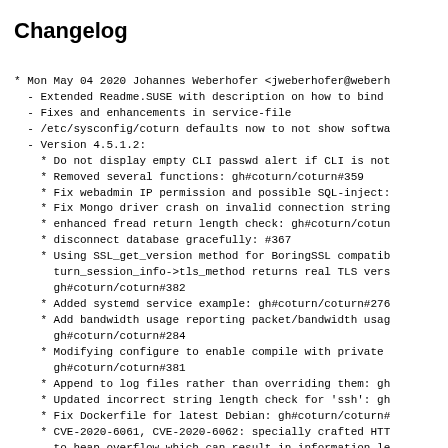Changelog
* Mon May 04 2020 Johannes Weberhofer <jweberhofer@weberh
- Extended Readme.SUSE with description on how to bind
- Fixes and enhancements in service-file
- /etc/sysconfig/coturn defaults now to not show softwa
- Version 4.5.1.2:
* Do not display empty CLI passwd alert if CLI is not
* Removed several functions: gh#coturn/coturn#359
* Fix webadmin IP permission and possible SQL-inject:
* Fix Mongo driver crash on invalid connection string
* enhanced fread return length check: gh#coturn/cotun
* disconnect database gracefully: #367
* Using SSL_get_version method for BoringSSL compatib
      turn_session_info->tls_method returns real TLS vers
      gh#coturn/coturn#382
* Added systemd service example: gh#coturn/coturn#276
* Add bandwidth usage reporting packet/bandwidth usag
      gh#coturn/coturn#284
* Modifying configure to enable compile with private
      gh#coturn/coturn#381
* Append to log files rather than overriding them: gh
* Updated incorrect string length check for 'ssh': gh
* Fix Dockerfile for latest Debian: gh#coturn/coturn#
* CVE-2020-6061, CVE-2020-6062: specially crafted HTT
      to heap overflow which can result in information le
      gh#coturn/coturn#489
* STUN input validation: gh#coturn/coturn#472